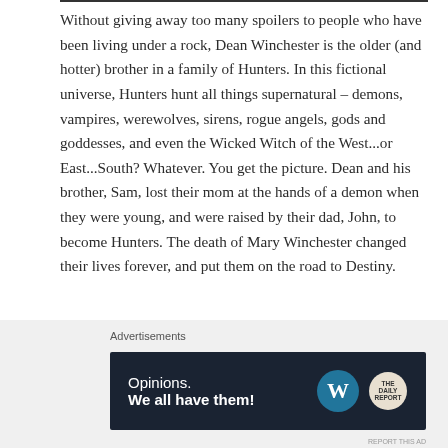Without giving away too many spoilers to people who have been living under a rock, Dean Winchester is the older (and hotter) brother in a family of Hunters. In this fictional universe, Hunters hunt all things supernatural – demons, vampires, werewolves, sirens, rogue angels, gods and goddesses, and even the Wicked Witch of the West...or East...South? Whatever. You get the picture. Dean and his brother, Sam, lost their mom at the hands of a demon when they were young, and were raised by their dad, John, to become Hunters. The death of Mary Winchester changed their lives forever, and put them on the road to Destiny.
Advertisements
[Figure (other): WordPress advertisement banner with dark navy background. Text reads 'Opinions. We all have them!' with WordPress logo (W in circle) and a circular report logo on the right.]